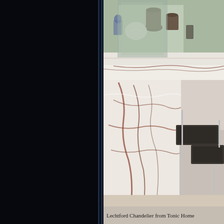[Figure (photo): Interior design photo showing a marble kitchen island or bar counter with dramatic white and brown veining, with two modern chrome bar stools with dark upholstered seats. On the marble shelf/counter behind, decorative objects including vases, a white coral or shell sculpture, and small figurines are displayed. Natural light comes from a window in the background.]
Lechtford Chandelier from Tonic Home